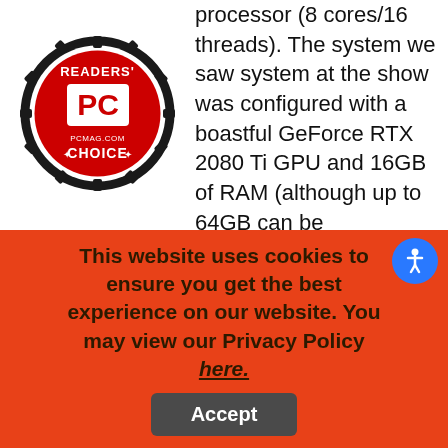[Figure (logo): PC Magazine Readers Choice circular badge logo in red and black]
processor (8 cores/16 threads). The system we saw system at the show was configured with a boastful GeForce RTX 2080 Ti GPU and 16GB of RAM (although up to 64GB can be configured). The Nox Mini also came with a 1TB SSD and a powerful 850-watt Cooler Master PSU. If you're looking for a gaming system that won't
This website uses cookies to ensure you get the best experience on our website. You may view our Privacy Policy here.